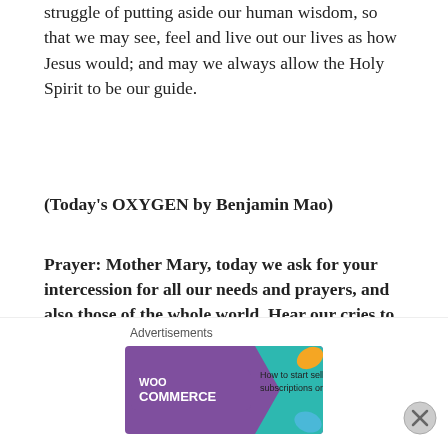struggle of putting aside our human wisdom, so that we may see, feel and live out our lives as how Jesus would; and may we always allow the Holy Spirit to be our guide.
(Today's OXYGEN by Benjamin Mao)
Prayer: Mother Mary, today we ask for your intercession for all our needs and prayers, and also those of the whole world. Hear our cries to you and we ask that you continue to pray for us, especially during this difficult time, that we may turn to your son and allow the Holy Spirit to guide us.
Hail Mary, full of grace, the Lord is with you.
[Figure (other): WooCommerce advertisement banner: 'How to start selling subscriptions online']